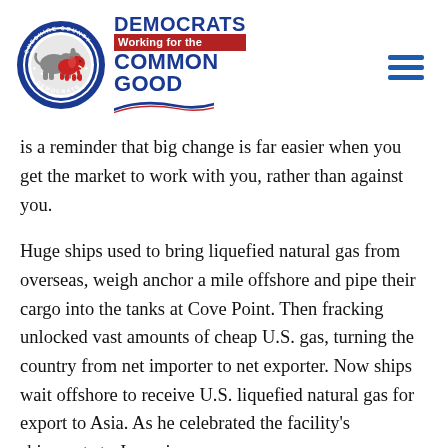[Figure (logo): Cheshire County Democrats logo with circular seal featuring donkey and elephant, alongside text 'DEMOCRATS Working for the COMMON GOOD' with swoosh, and hamburger menu icon on the right]
is a reminder that big change is far easier when you get the market to work with you, rather than against you.
Huge ships used to bring liquefied natural gas from overseas, weigh anchor a mile offshore and pipe their cargo into the tanks at Cove Point. Then fracking unlocked vast amounts of cheap U.S. gas, turning the country from net importer to net exporter. Now ships wait offshore to receive U.S. liquefied natural gas for export to Asia. As he celebrated the facility's shipments to Japan in